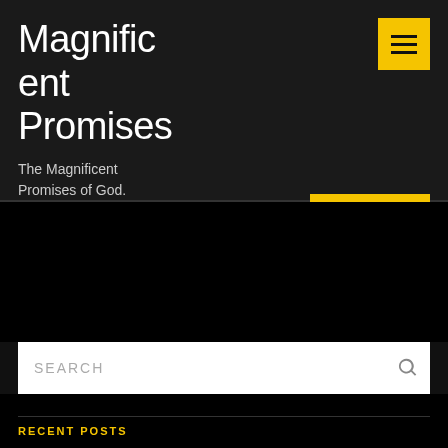Magnificent Promises
The Magnificent Promises of God.
[Figure (other): Yellow hamburger menu button icon in top right corner]
READ MORE
[Figure (screenshot): Black content area below divider line]
SEARCH
RECENT POSTS